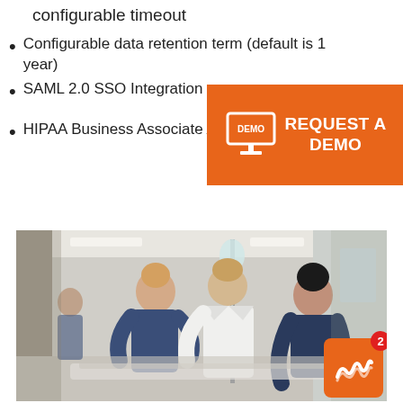configurable timeout
Configurable data retention term (default is 1 year)
SAML 2.0 SSO Integration
HIPAA Business Associate Agree...
[Figure (infographic): Orange banner with monitor/DEMO icon and text REQUEST A DEMO]
[Figure (photo): Medical professionals (nurse and doctor in white coat) attending to a patient in a hospital corridor, with an IV stand visible. Orange notification badge with wave icon and number 2 in bottom right corner.]